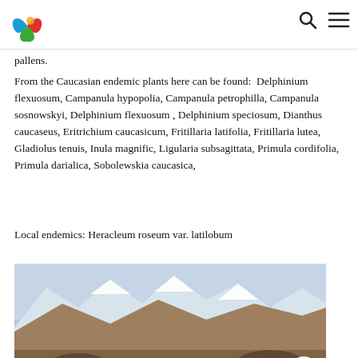[Logo] [Search icon] [Menu icon]
pallens.
From the Caucasian endemic plants here can be found:  Delphinium flexuosum, Campanula hypopolia, Campanula petrophilla, Campanula sosnowskyi, Delphinium flexuosum , Delphinium speciosum, Dianthus caucaseus, Eritrichium caucasicum, Fritillaria latifolia, Fritillaria lutea, Gladiolus tenuis, Inula magnific, Ligularia subsagittata, Primula cordifolia, Primula darialica, Sobolewskia caucasica,
Local endemics: Heracleum roseum var. latilobum
[Figure (photo): Mountain landscape with snow-capped peaks, rocky terrain, and a lake or river in the foreground. Arid brown mountains with snow on upper ridges, rocks in the valley.]